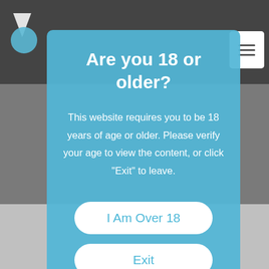[Figure (screenshot): Website background showing a dark restaurant/bar scene with a logo on the top left and a hamburger menu icon on the top right]
Are you 18 or older?
This website requires you to be 18 years of age or older. Please verify your age to view the content, or click "Exit" to leave.
I Am Over 18
Exit